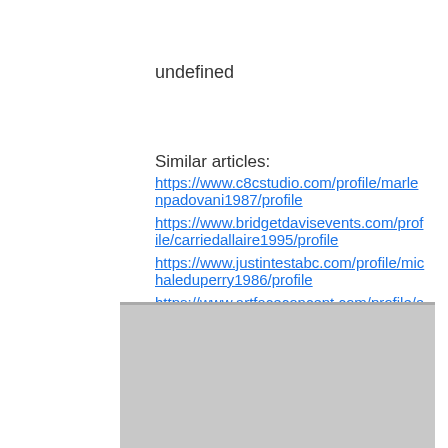undefined
Similar articles:
https://www.c8cstudio.com/profile/marlenpadovani1987/profile
https://www.bridgetdavisevents.com/profile/carriedallaire1995/profile
https://www.justintestabc.com/profile/michaleduperry1986/profile
https://www.artfaceconcept.com/profile/alvinskotnicki1980/profile
[Figure (other): Gray rectangle placeholder image]